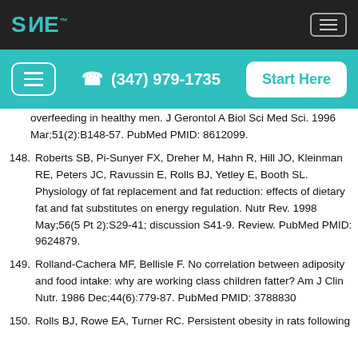SAE logo and navigation header with phone (347) 979-1735 and Start Here button
overfeeding in healthy men. J Gerontol A Biol Sci Med Sci. 1996 Mar;51(2):B148-57. PubMed PMID: 8612099.
148. Roberts SB, Pi-Sunyer FX, Dreher M, Hahn R, Hill JO, Kleinman RE, Peters JC, Ravussin E, Rolls BJ, Yetley E, Booth SL. Physiology of fat replacement and fat reduction: effects of dietary fat and fat substitutes on energy regulation. Nutr Rev. 1998 May;56(5 Pt 2):S29-41; discussion S41-9. Review. PubMed PMID: 9624879.
149. Rolland-Cachera MF, Bellisle F. No correlation between adiposity and food intake: why are working class children fatter? Am J Clin Nutr. 1986 Dec;44(6):779-87. PubMed PMID: 3788830
150. Rolls BJ, Rowe EA, Turner RC. Persistent obesity in rats following